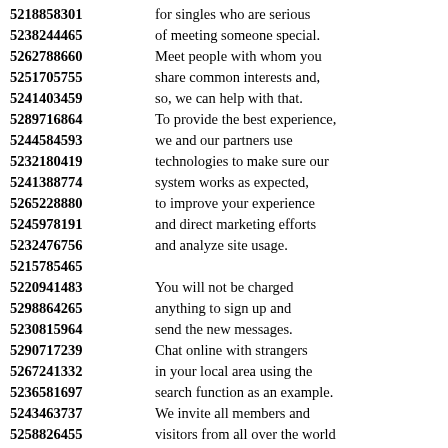5218858301 for singles who are serious
5238244465 of meeting someone special.
5262788660 Meet people with whom you
5251705755 share common interests and,
5241403459 so, we can help with that.
5289716864 To provide the best experience,
5244584593 we and our partners use
5232180419 technologies to make sure our
5241388774 system works as expected,
5265228880 to improve your experience
5245978191 and direct marketing efforts
5232476756 and analyze site usage.
5215785465
5220941483 You will not be charged
5298864265 anything to sign up and
5230815964 send the new messages.
5290717239 Chat online with strangers
5267241332 in your local area using the
5236581697 search function as an example.
5243463737 We invite all members and
5258826455 visitors from all over the world
5245831176 to join our global network
5274708667 making the search for love
5254745288 as far reaching as possible.
5262599971 If you are looking for love,